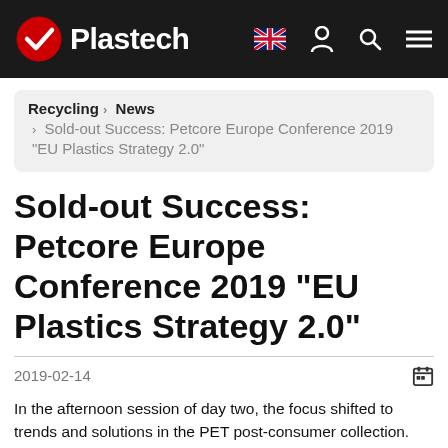Plastech
Recycling › News › Sold-out Success: Petcore Europe Conference 2019 "EU Plastics Strategy 2.0"
Sold-out Success: Petcore Europe Conference 2019 "EU Plastics Strategy 2.0"
2019-02-14
In the afternoon session of day two, the focus shifted to trends and solutions in the PET post-consumer collection. First, Gian de Belder, Petcore Europe ODR Working Group Chairman, from Procter & Gamble